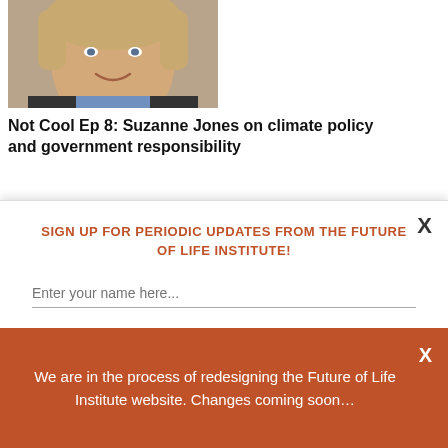[Figure (photo): Portrait photo of a woman with short blonde hair, smiling, wearing a blue collar, cropped at top of page]
Not Cool Ep 8: Suzanne Jones on climate policy and government responsibility
[Figure (illustration): Blue banner with orange sun/flame logo on the left side]
X
SIGN UP FOR PERIODIC UPDATES FROM THE FUTURE OF LIFE INSTITUTE!
Enter your name here...
Enter your email address here...
We are in the process of redesigning the Future of Life Institute website. Changes coming soon...
X